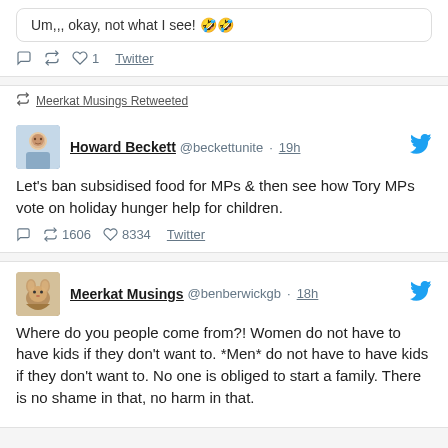Um,,, okay, not what I see! 🤣
♡ 1  Twitter
🔁 Meerkat Musings Retweeted
Howard Beckett @beckettunite · 19h
Let's ban subsidised food for MPs & then see how Tory MPs vote on holiday hunger help for children.
🔁 1606  ♡ 8334  Twitter
Meerkat Musings @benberwickgb · 18h
Where do you people come from?! Women do not have to have kids if they don't want to. *Men* do not have to have kids if they don't want to. No one is obliged to start a family. There is no shame in that, no harm in that.